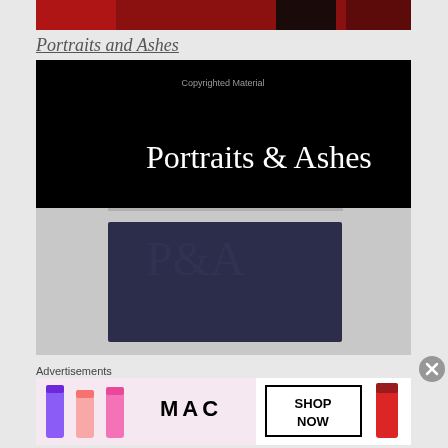[Figure (photo): Top portion of a book cover image showing red and dark colors, partially cropped]
Portraits and Ashes
[Figure (photo): Book cover showing two parts: top half is black with white serif text reading 'Portraits & Ashes' and small text 'Copyrighted Material'; bottom half shows a textured dark navy/purple fabric or material with a rectangular border]
Advertisements
[Figure (photo): MAC Cosmetics advertisement showing colorful lipsticks (purple, pink, coral, red) on the left, MAC logo in center, and a 'SHOP NOW' button on the right with a red lipstick]